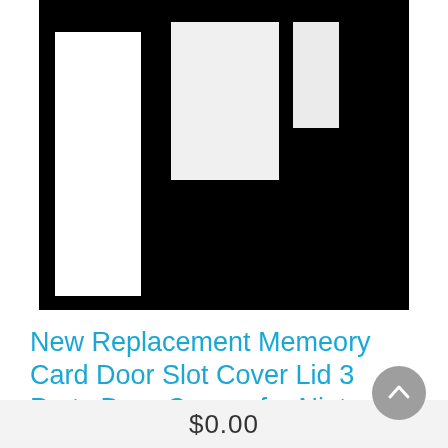[Figure (photo): Product photo on black background showing three white Nintendo Wii replacement door cover parts: one tall rectangular piece on the left, one medium rectangular piece in the center, and one small narrow piece on the right.]
New Replacement Memeory Card Door Slot Cover Lid 3 Parts Door Covers for Nintendo Wii Console White Wholesale
$0.00